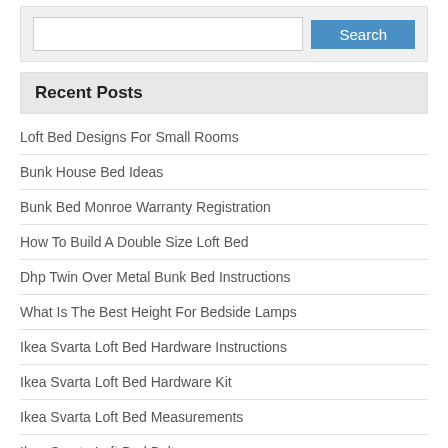[Figure (screenshot): Search input box with a blue Search button]
Recent Posts
Loft Bed Designs For Small Rooms
Bunk House Bed Ideas
Bunk Bed Monroe Warranty Registration
How To Build A Double Size Loft Bed
Dhp Twin Over Metal Bunk Bed Instructions
What Is The Best Height For Bedside Lamps
Ikea Svarta Loft Bed Hardware Instructions
Ikea Svarta Loft Bed Hardware Kit
Ikea Svarta Loft Bed Measurements
Ikea Svarta Loft Bed Bolts